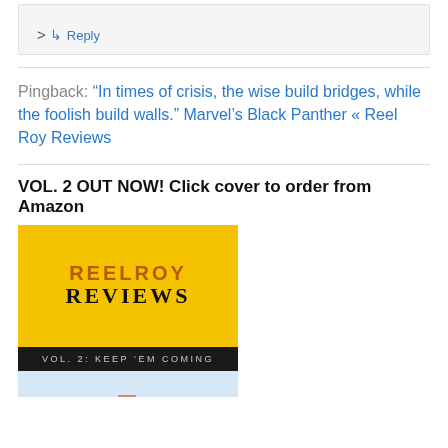>
↳ Reply
Pingback: "In times of crisis, the wise build bridges, while the foolish build walls." Marvel's Black Panther « Reel Roy Reviews
VOL. 2 OUT NOW! Click cover to order from Amazon
[Figure (illustration): Book cover for Reel Roy Reviews Vol. 2: Keep 'Em Coming, with yellow background, title text, black subtitle bar, and light blue lower section with a pencil illustration]